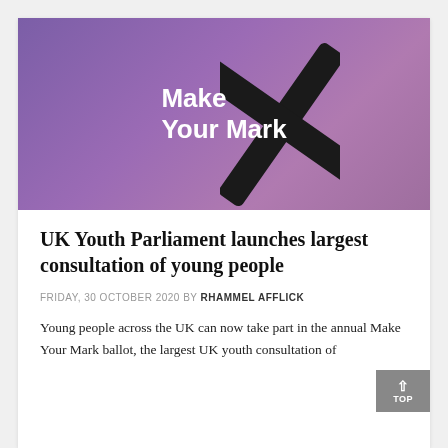[Figure (illustration): Purple gradient banner with 'Make Your Mark' text in white bold font and a large black X mark overlapping the text, on a purple to mauve gradient background.]
UK Youth Parliament launches largest consultation of young people
FRIDAY, 30 OCTOBER 2020 BY RHAMMEL AFFLICK
Young people across the UK can now take part in the annual Make Your Mark ballot, the largest UK youth consultation of